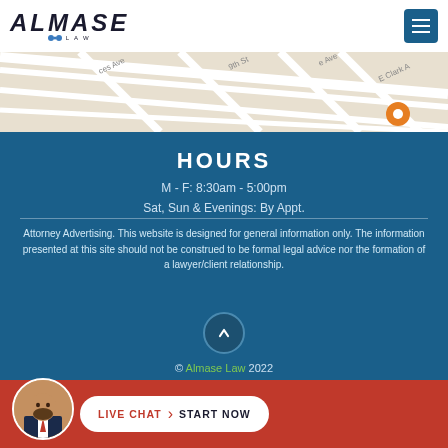[Figure (logo): Almase Law logo — bold italic text 'ALMASE' with LAW subtitle and blue dot decoration, white background, plus hamburger menu icon top right]
[Figure (map): Street map showing city grid with streets including 9th St, E Clark Ave; orange location pin marker visible]
HOURS
M - F: 8:30am - 5:00pm
Sat, Sun & Evenings: By Appt.
Attorney Advertising. This website is designed for general information only. The information presented at this site should not be construed to be formal legal advice nor the formation of a lawyer/client relationship.
© Almase Law 2022
[Figure (infographic): Bottom red bar with attorney photo avatar circle and white pill-shaped LIVE CHAT › START NOW button]